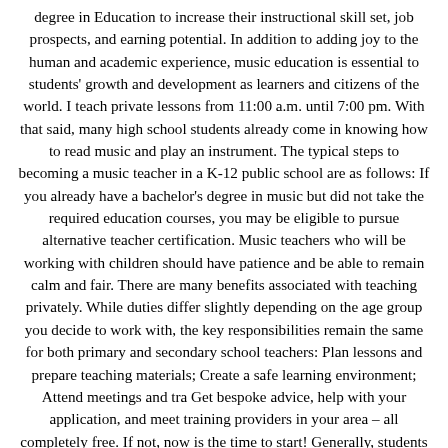degree in Education to increase their instructional skill set, job prospects, and earning potential. In addition to adding joy to the human and academic experience, music education is essential to students' growth and development as learners and citizens of the world. I teach private lessons from 11:00 a.m. until 7:00 pm. With that said, many high school students already come in knowing how to read music and play an instrument. The typical steps to becoming a music teacher in a K-12 public school are as follows: If you already have a bachelor's degree in music but did not take the required education courses, you may be eligible to pursue alternative teacher certification. Music teachers who will be working with children should have patience and be able to remain calm and fair. There are many benefits associated with teaching privately. While duties differ slightly depending on the age group you decide to work with, the key responsibilities remain the same for both primary and secondary school teachers: Plan lessons and prepare teaching materials; Create a safe learning environment; Attend meetings and tra Get bespoke advice, help with your application, and meet training providers in your area – all completely free. If not, now is the time to start! Generally, students who participate in music at the high school level have already had some sort of musical experience prior to entering. Normally, music teachers should be able to play basic instruments and read music. Future music teachers will be required to complete observation hours and students teaching. "I teach all sorts of styles to be